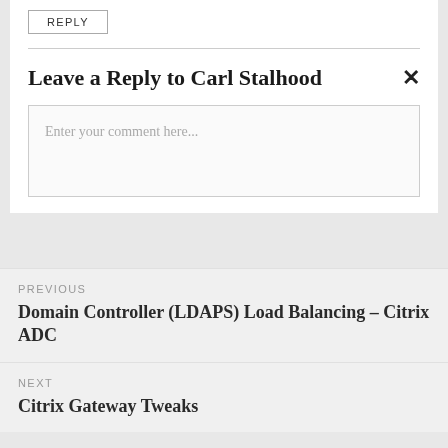REPLY
Leave a Reply to Carl Stalhood
Enter your comment here...
PREVIOUS
Domain Controller (LDAPS) Load Balancing – Citrix ADC
NEXT
Citrix Gateway Tweaks